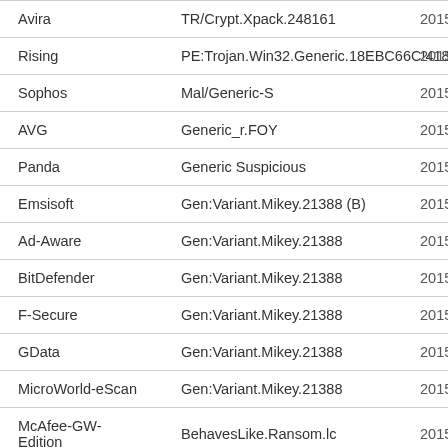| Antivirus | Detection | Date |
| --- | --- | --- |
| Avira | TR/Crypt.Xpack.248161 | 20150 |
| Rising | PE:Trojan.Win32.Generic.18EBC66C!418104940 | 20150 |
| Sophos | Mal/Generic-S | 20150 |
| AVG | Generic_r.FOY | 20150 |
| Panda | Generic Suspicious | 20150 |
| Emsisoft | Gen:Variant.Mikey.21388 (B) | 20150 |
| Ad-Aware | Gen:Variant.Mikey.21388 | 20150 |
| BitDefender | Gen:Variant.Mikey.21388 | 20150 |
| F-Secure | Gen:Variant.Mikey.21388 | 20150 |
| GData | Gen:Variant.Mikey.21388 | 20150 |
| MicroWorld-eScan | Gen:Variant.Mikey.21388 | 20150 |
| McAfee-GW-Edition | BehavesLike.Ransom.lc | 20150 |